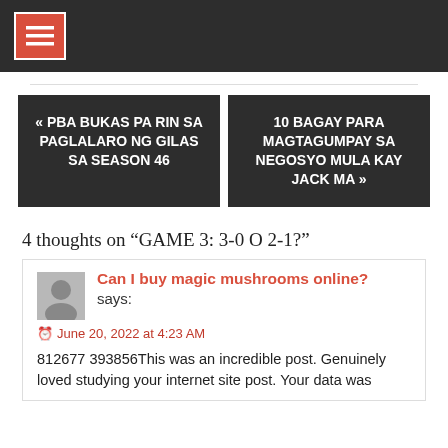[hamburger menu icon]
« PBA BUKAS PA RIN SA PAGLALARO NG GILAS SA SEASON 46
10 BAGAY PARA MAGTAGUMPAY SA NEGOSYO MULA KAY JACK MA »
4 thoughts on “GAME 3: 3-0 O 2-1?”
Can I buy magic mushrooms online? says:
June 20, 2022 at 4:23 AM
812677 393856This was an incredible post. Genuinely loved studying your internet site post. Your data was very informative